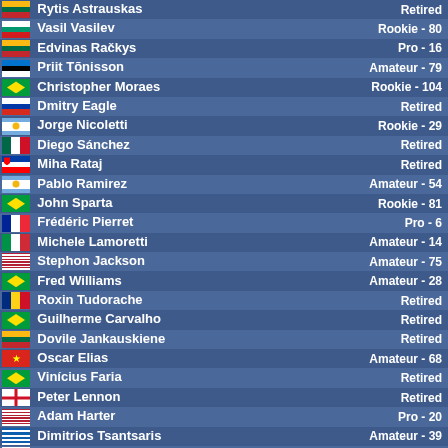| Player | Status |
| --- | --- |
| Rytis Astrauskas | Retired |
| Vasil Vasilev | Rookie - 80 |
| Edvinas Račkys | Pro - 16 |
| Priit Tõnisson | Amateur - 79 |
| Christopher Moraes | Rookie - 104 |
| Dmitry Eagle | Retired |
| Jorge Nicoletti | Rookie - 29 |
| Diego Sánchez | Retired |
| Miha Rataj | Retired |
| Pablo Ramirez | Amateur - 54 |
| John Sparta | Rookie - 81 |
| Frédéric Pierret | Pro - 6 |
| Michele Lamoretti | Amateur - 14 |
| Stephon Jackson | Amateur - 75 |
| Fred Williams | Amateur - 28 |
| Roxin Tudorache | Retired |
| Guilherme Carvalho | Retired |
| Dovile Jankauskiene | Retired |
| Oscar Elias | Amateur - 68 |
| Vinícius Faria | Retired |
| Peter Lennon | Retired |
| Adam Harter | Pro - 20 |
| Dimitrios Tsantsaris | Amateur - 39 |
| Richard Warner | Amateur - 70 |